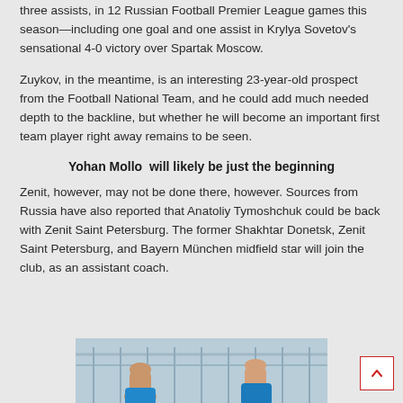three assists, in 12 Russian Football Premier League games this season—including one goal and one assist in Krylya Sovetov's sensational 4-0 victory over Spartak Moscow.
Zuykov, in the meantime, is an interesting 23-year-old prospect from the Football National Team, and he could add much needed depth to the backline, but whether he will become an important first team player right away remains to be seen.
Yohan Mollo  will likely be just the beginning
Zenit, however, may not be done there, however. Sources from Russia have also reported that Anatoliy Tymoshchuk could be back with Zenit Saint Petersburg. The former Shakhtar Donetsk, Zenit Saint Petersburg, and Bayern München midfield star will join the club, as an assistant coach.
[Figure (photo): Partial photo showing hands raised, with a blue background, bottom of article image]